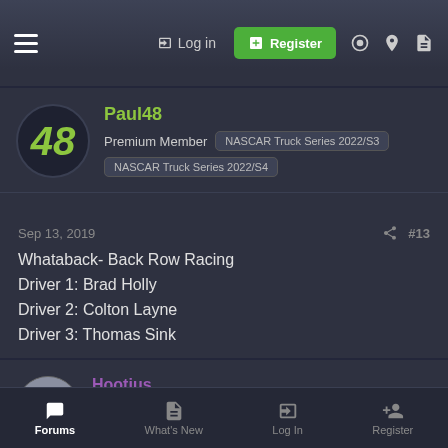Log in | Register
Paul48
Premium Member | NASCAR Truck Series 2022/S3 | NASCAR Truck Series 2022/S4
Sep 13, 2019
#13
Whataback- Back Row Racing
Driver 1: Brad Holly
Driver 2: Colton Layne
Driver 3: Thomas Sink
Hootius
Director | Staff member | NASCAR Cup Series 2022/S3 | MX-5 Cup Series 2022/S3 | NASCAR Truck Series 2022/S3
Forums | What's New | Log In | Register